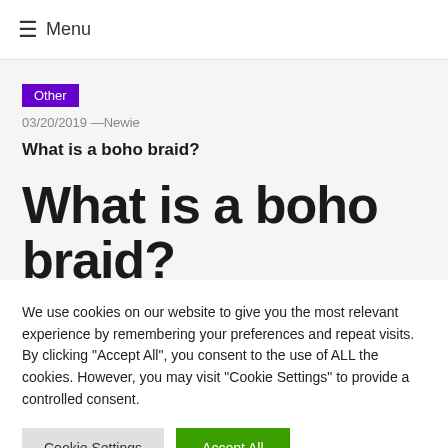☰ Menu
Other
03/20/2019 —Newie
What is a boho braid?
What is a boho braid?
We use cookies on our website to give you the most relevant experience by remembering your preferences and repeat visits. By clicking "Accept All", you consent to the use of ALL the cookies. However, you may visit "Cookie Settings" to provide a controlled consent.
Cookie Settings | Accept All